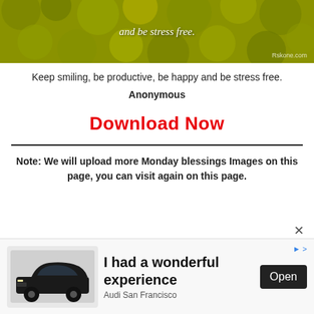[Figure (photo): Inspirational quote image with yellow-green foliage background. Italic white script text reads 'and be stress free.' with watermark 'Rskone.com' in bottom right.]
Keep smiling, be productive, be happy and be stress free.
Anonymous
Download Now
Note: We will upload more Monday blessings Images on this page, you can visit again on this page.
[Figure (photo): Advertisement banner. Black Audi SUV car image on left. Text reads 'I had a wonderful experience' with 'Audi San Francisco' subtitle and an 'Open' button on the right.]